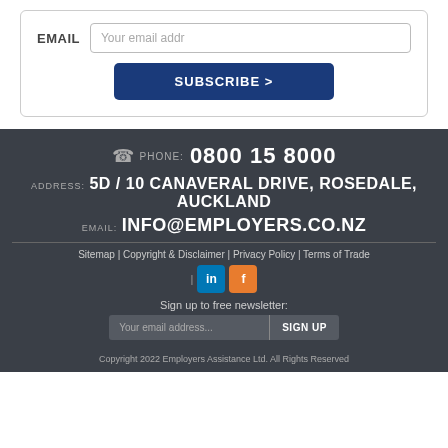EMAIL   Your email addr
SUBSCRIBE >
PHONE: 0800 15 8000
ADDRESS: 5D / 10 CANAVERAL DRIVE, ROSEDALE, AUCKLAND
EMAIL: INFO@EMPLOYERS.CO.NZ
Sitemap | Copyright & Disclaimer | Privacy Policy | Terms of Trade
[Figure (other): LinkedIn and Facebook social media icons]
Sign up to free newsletter:
Your email address...   SIGN UP
Copyright 2022 Employers Assistance Ltd. All Rights Reserved